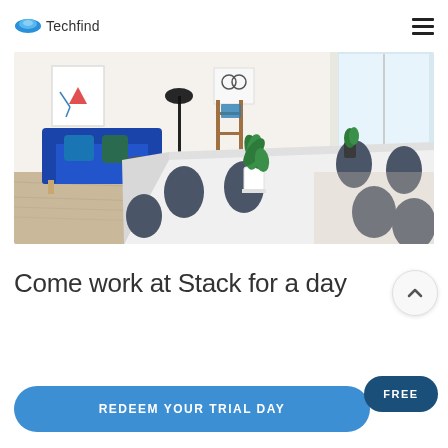Techfind
[Figure (photo): Modern office meeting room with a long white table, dark navy chairs, a blue sofa in the background, a plant on the table, wooden flooring, white walls with artwork, and a bright window on the right side.]
Come work at Stack for a day
REDEEM YOUR TRIAL DAY
FREE